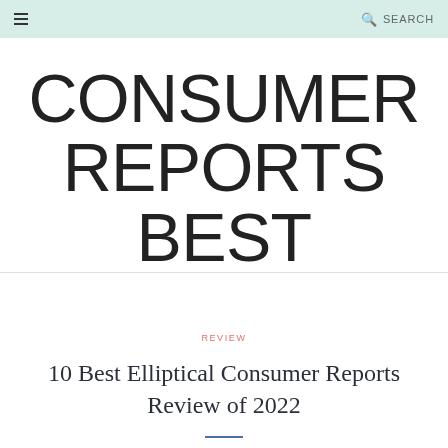≡  SEARCH
CONSUMER REPORTS BEST
REVIEW
10 Best Elliptical Consumer Reports Review of 2022